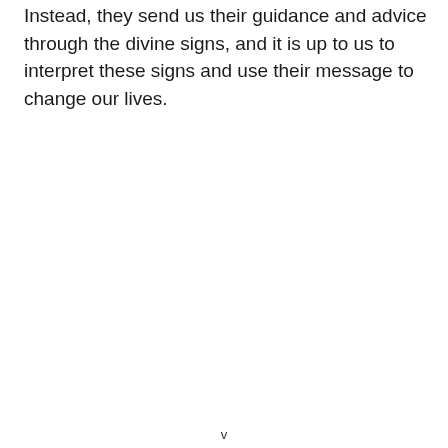Instead, they send us their guidance and advice through the divine signs, and it is up to us to interpret these signs and use their message to change our lives.
v